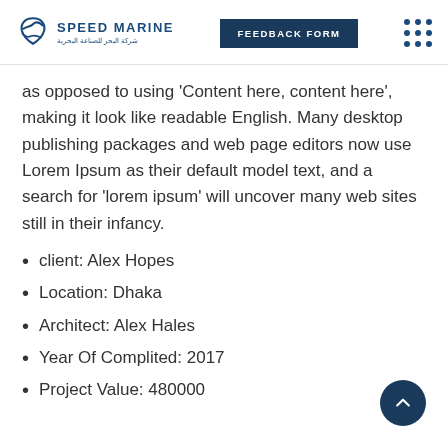Speed Marine | FEEDBACK FORM
as opposed to using 'Content here, content here', making it look like readable English. Many desktop publishing packages and web page editors now use Lorem Ipsum as their default model text, and a search for 'lorem ipsum' will uncover many web sites still in their infancy.
client: Alex Hopes
Location: Dhaka
Architect: Alex Hales
Year Of Complited: 2017
Project Value: 480000